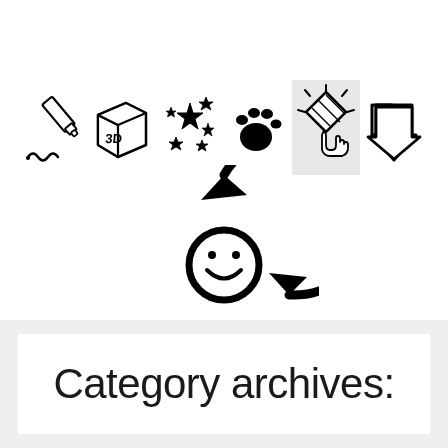[Figure (illustration): A row of six hand-drawn doodle icons: a pencil/marker, a 3D block with letters, a cluster of stars/snowflakes, a paw print, a glowing/clicking diamond (highlighted with grey background), and a downward arrow.]
[Figure (illustration): A large hand-drawn circular refresh/reload arrow icon with a smiley face in the center.]
Category archives: